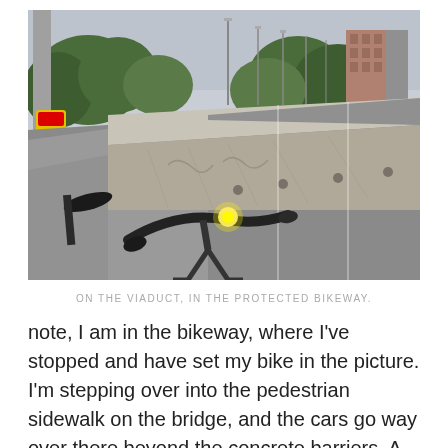[Figure (photo): A photograph taken from a bicycle on a viaduct, showing the protected bikeway separated from car traffic by large concrete barriers. The handlebars and front light of a bicycle are visible in the foreground. In the background are street lights, trees, and city buildings under an overcast sky.]
ON THE VIADUCT, IN THE PROTECTED BIKEWAY.
note, I am in the bikeway, where I've stopped and have set my bike in the picture. I'm stepping over into the pedestrian sidewalk on the bridge, and the cars go way over there beyond the concrete barriers. A